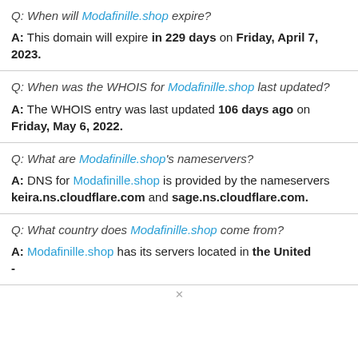Q: When will Modafinille.shop expire?
A: This domain will expire in 229 days on Friday, April 7, 2023.
Q: When was the WHOIS for Modafinille.shop last updated?
A: The WHOIS entry was last updated 106 days ago on Friday, May 6, 2022.
Q: What are Modafinille.shop's nameservers?
A: DNS for Modafinille.shop is provided by the nameservers keira.ns.cloudflare.com and sage.ns.cloudflare.com.
Q: What country does Modafinille.shop come from?
A: Modafinille.shop has its servers located in the United -